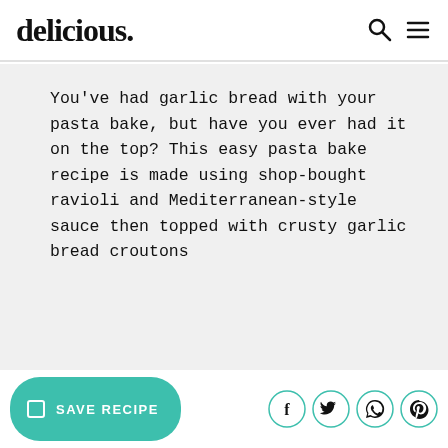delicious.
You've had garlic bread with your pasta bake, but have you ever had it on the top? This easy pasta bake recipe is made using shop-bought ravioli and Mediterranean-style sauce then topped with crusty garlic bread croutons
SAVE RECIPE | social share icons: Facebook, Twitter, WhatsApp, Pinterest